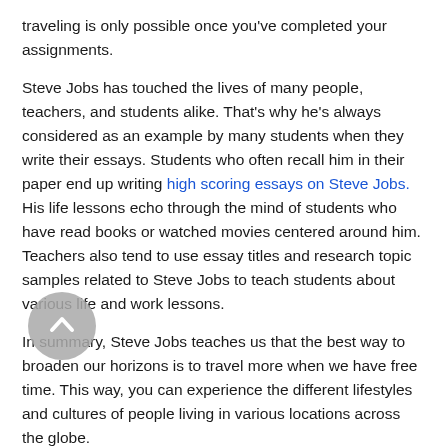traveling is only possible once you've completed your assignments.
Steve Jobs has touched the lives of many people, teachers, and students alike. That's why he's always considered as an example by many students when they write their essays. Students who often recall him in their paper end up writing high scoring essays on Steve Jobs. His life lessons echo through the mind of students who have read books or watched movies centered around him. Teachers also tend to use essay titles and research topic samples related to Steve Jobs to teach students about various life and work lessons.
In summary, Steve Jobs teaches us that the best way to broaden our horizons is to travel more when we have free time. This way, you can experience the different lifestyles and cultures of people living in various locations across the globe.
A note from our follow...